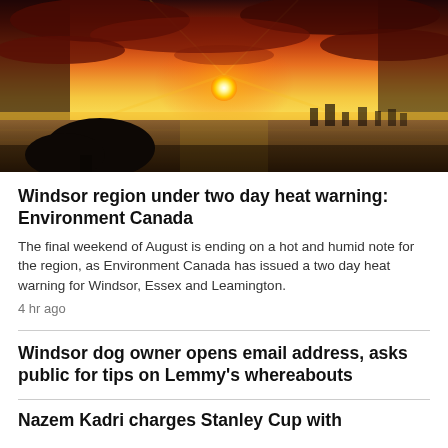[Figure (photo): Sunset over a waterfront with dramatic red and orange sky, silhouetted trees in foreground, city skyline in background]
Windsor region under two day heat warning: Environment Canada
The final weekend of August is ending on a hot and humid note for the region, as Environment Canada has issued a two day heat warning for Windsor, Essex and Leamington.
4 hr ago
Windsor dog owner opens email address, asks public for tips on Lemmy's whereabouts
Nazem Kadri charges Stanley Cup with